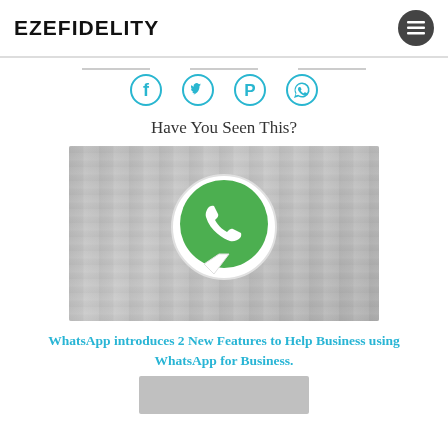EZEFIDELITY
[Figure (infographic): Social share divider with Facebook, Twitter, Pinterest, and WhatsApp icons in cyan/blue]
Have You Seen This?
[Figure (photo): 3D printed WhatsApp logo placed on a laptop keyboard, green circle with white phone icon]
WhatsApp introduces 2 New Features to Help Business using WhatsApp for Business.
[Figure (photo): Partial bottom image, partially visible]